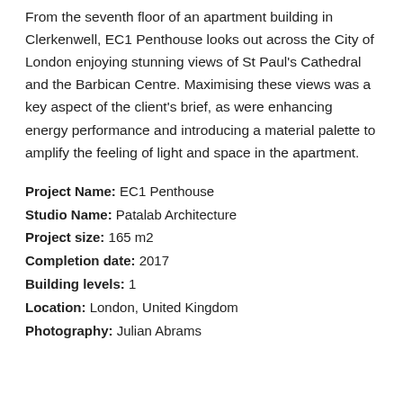From the seventh floor of an apartment building in Clerkenwell, EC1 Penthouse looks out across the City of London enjoying stunning views of St Paul's Cathedral and the Barbican Centre. Maximising these views was a key aspect of the client's brief, as were enhancing energy performance and introducing a material palette to amplify the feeling of light and space in the apartment.
Project Name: EC1 Penthouse
Studio Name: Patalab Architecture
Project size: 165 m2
Completion date: 2017
Building levels: 1
Location: London, United Kingdom
Photography: Julian Abrams